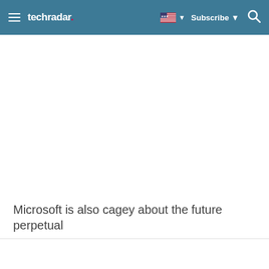techradar
Microsoft is also cagey about the future perpetual